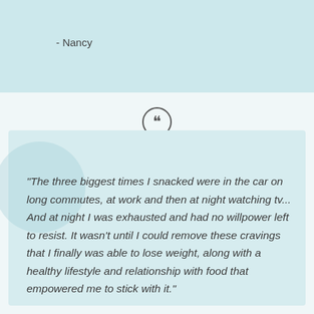- Nancy
“The three biggest times I snacked were in the car on long commutes, at work and then at night watching tv... And at night I was exhausted and had no willpower left to resist. It wasn’t until I could remove these cravings that I finally was able to lose weight, along with a healthy lifestyle and relationship with food that empowered me to stick with it.”